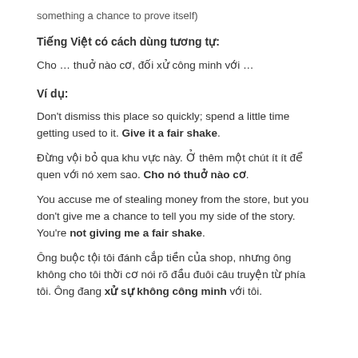something a chance to prove itself)
Tiếng Việt có cách dùng tương tự:
Cho … thuở nào cơ, đối xử công minh với …
Ví dụ:
Don't dismiss this place so quickly; spend a little time getting used to it. Give it a fair shake.
Đừng vội bỏ qua khu vực này. Ở thêm một chút ít ít để quen với nó xem sao. Cho nó thuở nào cơ.
You accuse me of stealing money from the store, but you don't give me a chance to tell you my side of the story. You're not giving me a fair shake.
Ông buộc tội tôi đánh cắp tiền của shop, nhưng ông không cho tôi thời cơ nói rõ đầu đuôi câu truyện từ phía tôi. Ông đang xử sự không công minh với tôi.